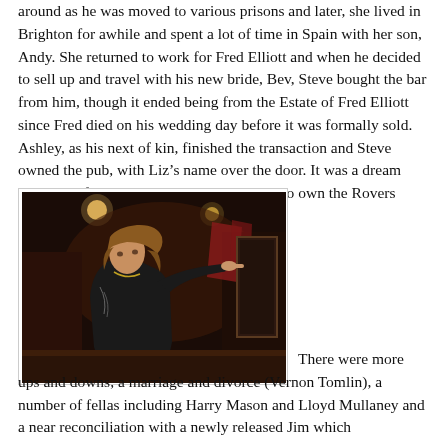around as he was moved to various prisons and later, she lived in Brighton for awhile and spent a lot of time in Spain with her son, Andy. She returned to work for Fred Elliott and when he decided to sell up and travel with his new bride, Bev, Steve bought the bar from him, though it ended being from the Estate of Fred Elliott since Fred died on his wedding day before it was formally sold. Ashley, as his next of kin, finished the transaction and Steve owned the pub, with Liz's name over the door. It was a dream come true for Liz who had always wanted to own the Rovers Return.
[Figure (photo): A woman in a dark leather jacket standing in what appears to be a dimly lit bar or pub interior, pointing at something off-frame. There are warm lights and dark wood paneling visible in the background.]
There were more ups and downs, a marriage and divorce (Vernon Tomlin), a number of fellas including Harry Mason and Lloyd Mullaney and a near reconciliation with a newly released Jim which